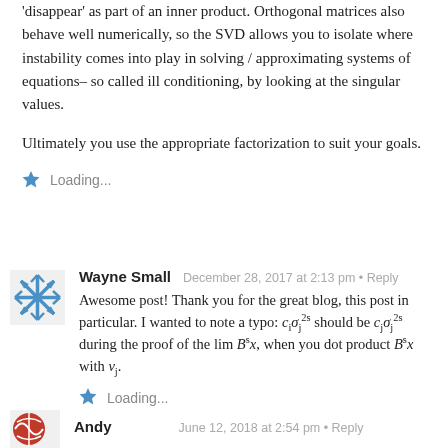'disappear' as part of an inner product. Orthogonal matrices also behave well numerically, so the SVD allows you to isolate where instability comes into play in solving / approximating systems of equations– so called ill conditioning, by looking at the singular values.
Ultimately you use the appropriate factorization to suit your goals.
Loading...
Wayne Small — December 28, 2017 at 2:13 pm • Reply
Awesome post! Thank you for the great blog, this post in particular. I wanted to note a typo: c_i σ_j^{2s} should be c_j σ_j^{2s} during the proof of the lim B^s x, when you dot product B^s x with v_j.
Loading...
Andy — June 12, 2018 at 2:54 pm • Reply